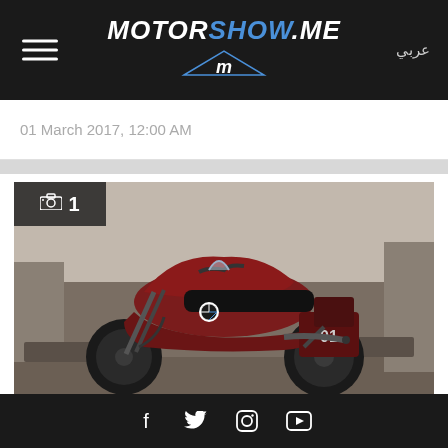MOTORSHOW.ME
01 March 2017, 12:00 AM
[Figure (photo): Red and black BMW S 1000 XR motorcycle with number 01 on saddlebag, parked in a ruined setting. Photo counter overlay showing camera icon and '1'.]
2017 S 1000 XR
Social media icons: Facebook, Twitter, Instagram, YouTube